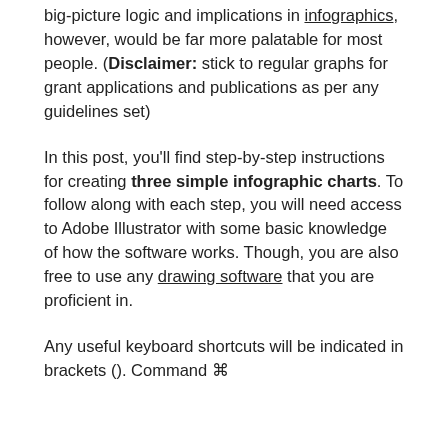big-picture logic and implications in infographics, however, would be far more palatable for most people. (Disclaimer: stick to regular graphs for grant applications and publications as per any guidelines set)
In this post, you'll find step-by-step instructions for creating three simple infographic charts. To follow along with each step, you will need access to Adobe Illustrator with some basic knowledge of how the software works. Though, you are also free to use any drawing software that you are proficient in.
Any useful keyboard shortcuts will be indicated in brackets (). Command ⌘